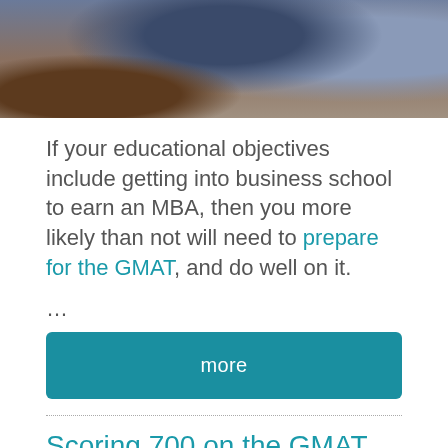[Figure (photo): Photo of people studying or in a business school setting, cropped at top of page]
If your educational objectives include getting into business school to earn an MBA, then you more likely than not will need to prepare for the GMAT, and do well on it.
...
more
Scoring 700 on the GMAT